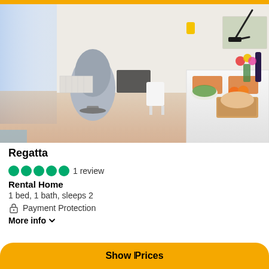[Figure (photo): Interior photo of a modern apartment with white dining table set with food, bread, salad bowl, fruit, flowers, and wine. A grey egg chair and floor lamp are visible in the background with large windows letting in natural light.]
Regatta
●●●●● 1 review
Rental Home
1 bed, 1 bath, sleeps 2
🔒 Payment Protection
More info ▼
Show Prices